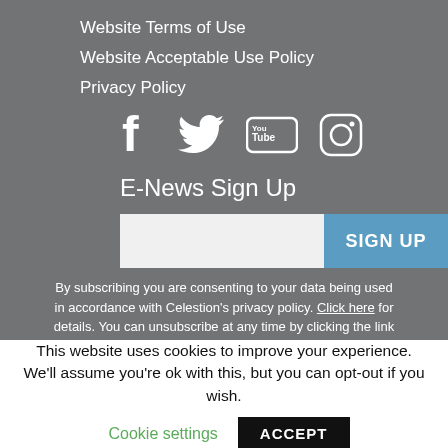Website Terms of Use
Website Acceptable Use Policy
Privacy Policy
[Figure (infographic): Social media icons: Facebook, Twitter, YouTube, Instagram — white icons on gray background]
E-News Sign Up
By subscribing you are consenting to your data being used in accordance with Celestion's privacy policy. Click here for details. You can unsubscribe at any time by clicking the link in the footer of
This website uses cookies to improve your experience. We'll assume you're ok with this, but you can opt-out if you wish.